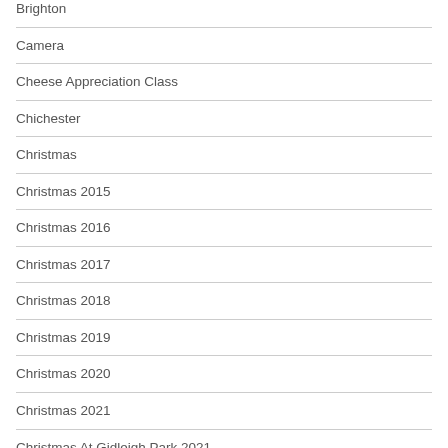Brighton
Camera
Cheese Appreciation Class
Chichester
Christmas
Christmas 2015
Christmas 2016
Christmas 2017
Christmas 2018
Christmas 2019
Christmas 2020
Christmas 2021
Christmas At Gidleigh Park 2021